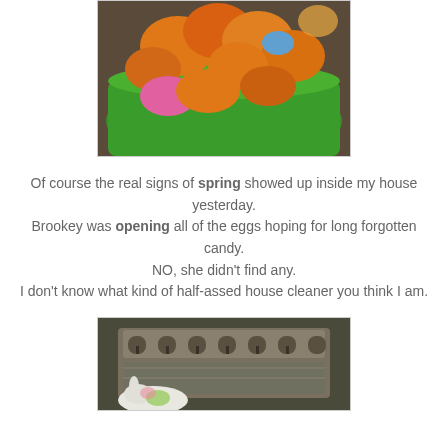[Figure (photo): A green Easter basket filled with colorful plastic Easter eggs in orange, pink, blue, and other colors, viewed from above at close range.]
Of course the real signs of spring showed up inside my house yesterday.
Brookey was opening all of the eggs hoping for long forgotten candy.
NO, she didn't find any.
I don't know what kind of half-assed house cleaner you think I am.
[Figure (photo): A vintage mechanical cash register with decorative metalwork, with a small stuffed bunny or animal toy placed in front of it.]